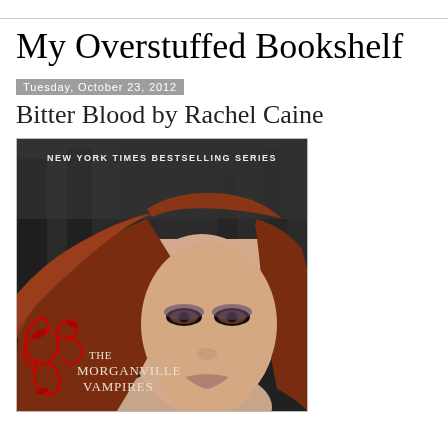My Overstuffed Bookshelf
Tuesday, October 23, 2012
Bitter Blood by Rachel Caine
[Figure (illustration): Book cover of Bitter Blood by Rachel Caine, part of The Morganville Vampires series. Shows a young woman with long auburn hair and dramatic eye makeup against a dark forest background. Text reads NEW YORK TIMES BESTSELLING SERIES at top, and THE MORGANVILLE VAMPIRES at bottom left with red decorative scrollwork.]